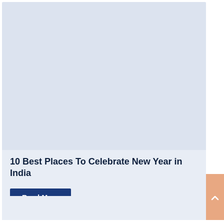[Figure (illustration): Large light blue-grey placeholder image area at top of card]
10 Best Places To Celebrate New Year in India
Read More